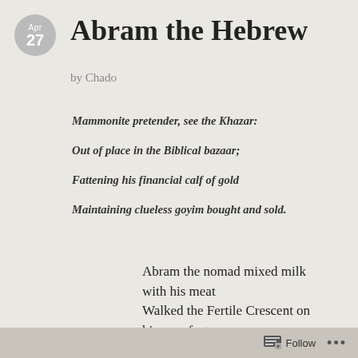Abram the Hebrew
by Chado
Mammonite pretender, see the Khazar:
Out of place in the Biblical bazaar;
Fattening his financial calf of gold
Maintaining clueless goyim bought and sold.
Abram the nomad mixed milk with his meat
Walked the Fertile Crescent on his own feet;
Summoned from the Chaldees, uncircumcised
Long before that temple was
Follow